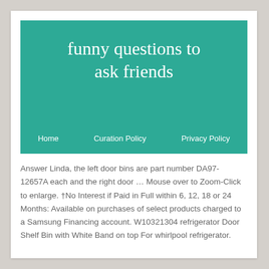funny questions to ask friends
Home   Curation Policy   Privacy Policy
Answer Linda, the left door bins are part number DA97-12657A each and the right door … Mouse over to Zoom-Click to enlarge. †No Interest if Paid in Full within 6, 12, 18 or 24 Months: Available on purchases of select products charged to a Samsung Financing account. W10321304 refrigerator Door Shelf Bin with White Band on top For whirlpool refrigerator. Part number WPW10321304